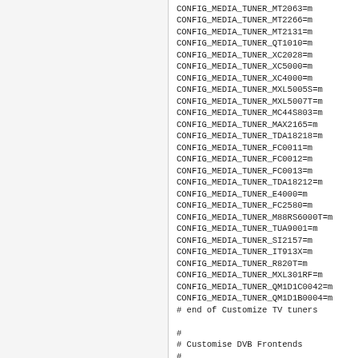CONFIG_MEDIA_TUNER_MT2063=m
CONFIG_MEDIA_TUNER_MT2266=m
CONFIG_MEDIA_TUNER_MT2131=m
CONFIG_MEDIA_TUNER_QT1010=m
CONFIG_MEDIA_TUNER_XC2028=m
CONFIG_MEDIA_TUNER_XC5000=m
CONFIG_MEDIA_TUNER_XC4000=m
CONFIG_MEDIA_TUNER_MXL5005S=m
CONFIG_MEDIA_TUNER_MXL5007T=m
CONFIG_MEDIA_TUNER_MC44S803=m
CONFIG_MEDIA_TUNER_MAX2165=m
CONFIG_MEDIA_TUNER_TDA18218=m
CONFIG_MEDIA_TUNER_FC0011=m
CONFIG_MEDIA_TUNER_FC0012=m
CONFIG_MEDIA_TUNER_FC0013=m
CONFIG_MEDIA_TUNER_TDA18212=m
CONFIG_MEDIA_TUNER_E4000=m
CONFIG_MEDIA_TUNER_FC2580=m
CONFIG_MEDIA_TUNER_M88RS6000T=m
CONFIG_MEDIA_TUNER_TUA9001=m
CONFIG_MEDIA_TUNER_SI2157=m
CONFIG_MEDIA_TUNER_IT913X=m
CONFIG_MEDIA_TUNER_R820T=m
CONFIG_MEDIA_TUNER_MXL301RF=m
CONFIG_MEDIA_TUNER_QM1D1C0042=m
CONFIG_MEDIA_TUNER_QM1D1B0004=m
# end of Customize TV tuners

#
# Customise DVB Frontends
#